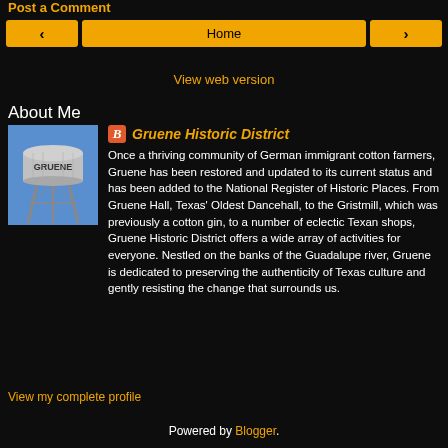Post a Comment
Home
View web version
About Me
[Figure (photo): Water tower with GRUENE text against blue sky]
Gruene Historic District
Once a thriving community of German immigrant cotton farmers, Gruene has been restored and updated to its current status and has been added to the National Register of Historic Places. From Gruene Hall, Texas' Oldest Dancehall, to the Gristmill, which was previously a cotton gin, to a number of eclectic Texan shops, Gruene Historic District offers a wide array of activities for everyone. Nestled on the banks of the Guadalupe river, Gruene is dedicated to preserving the authenticity of Texas culture and gently resisting the change that surrounds us.
View my complete profile
Powered by Blogger.